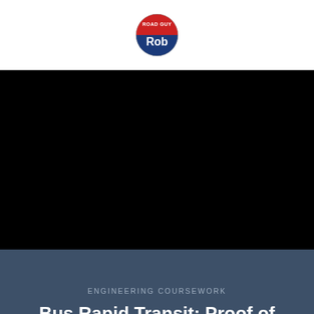[Figure (logo): Road Guy Rob circular logo with red top half labeled 'ROAD GUY' and blue bottom half with white text 'Rob']
[Figure (photo): Black background/video thumbnail area representing a Bus Rapid Transit video content]
ENGINEERING COURSEWORK
Bus Rapid Transit: Proof of Performance